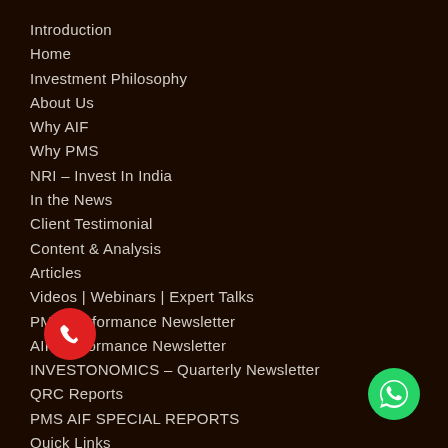Introduction
Home
Investment Philosophy
About Us
Why AIF
Why PMS
NRI – Invest In India
In the News
Client Testimonial
Content & Analysis
Articles
Videos | Webinars | Expert Talks
PMS Performance Newsletter
AIF Performance Newsletter
INVESTONOMICS – Quarterly Newsletter
QRC Reports
PMS AIF SPECIAL REPORTS
Quick Links
PMS Selector
PMS Return
AIF Returns
Conference
Intense Webinar
Emkay Alpha Mavens
Summit and Awards
[Figure (logo): Green circular WhatsApp button icon]
[Figure (logo): Red circular phone call button icon]